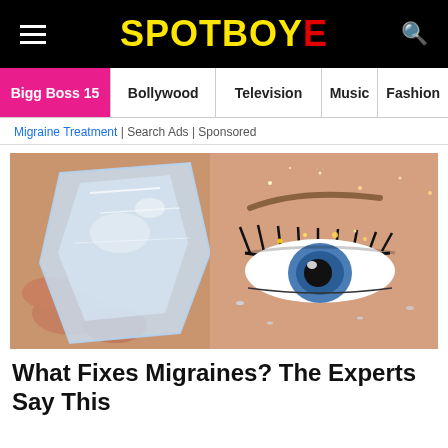SPOTBOYE
Bigg Boss 15 | Bollywood | Television | Music | Fashion
Migraine Treatment | Search Ads | Sponsored
[Figure (photo): Close-up of a person holding a large ice cube against their cheek near one eye with dramatic makeup and glitter]
What Fixes Migraines? The Experts Say This